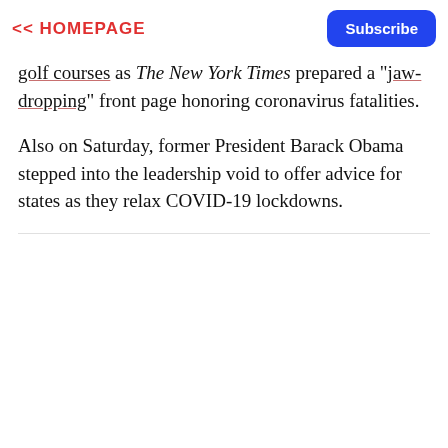<< HOMEPAGE   Subscribe
golf courses as The New York Times prepared a "jaw-dropping" front page honoring coronavirus fatalities.
Also on Saturday, former President Barack Obama stepped into the leadership void to offer advice for states as they relax COVID-19 lockdowns.